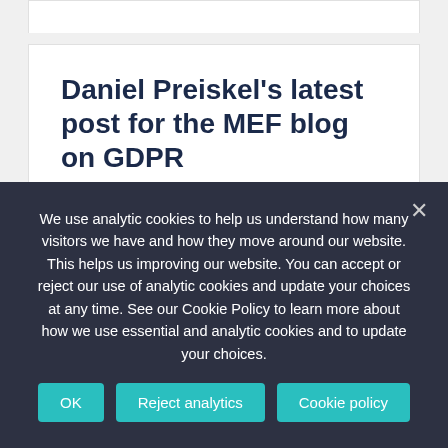Daniel Preiskel's latest post for the MEF blog on GDPR
Danny Preiskel's latest article for the Mobile Ecosystem Forum (MEF) blog "Embracing Consumer Trust and GDPR" was published yesterday. The post contains Danny's views on the importance of the forthcoming GDPR and shares details of the GDPR conference to be
We use analytic cookies to help us understand how many visitors we have and how they move around our website. This helps us improving our website. You can accept or reject our use of analytic cookies and update your choices at any time. See our Cookie Policy to learn more about how we use essential and analytic cookies and to update your choices.